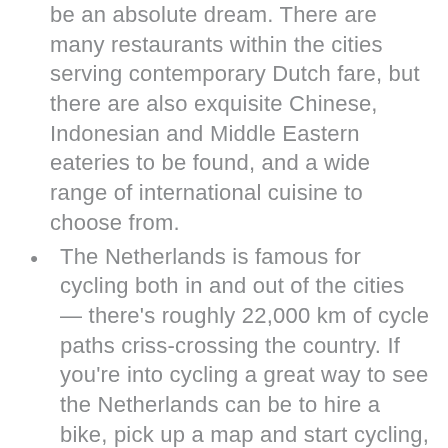be an absolute dream. There are many restaurants within the cities serving contemporary Dutch fare, but there are also exquisite Chinese, Indonesian and Middle Eastern eateries to be found, and a wide range of international cuisine to choose from.
The Netherlands is famous for cycling both in and out of the cities — there's roughly 22,000 km of cycle paths criss-crossing the country. If you're into cycling a great way to see the Netherlands can be to hire a bike, pick up a map and start cycling, whether it's through the centre of Amsterdam or across the Hoge Veluwe National Park.
If you do visit the National Park, be sure to visit the Kröller-Müller Museum, which houses the second largest collection of works by Van Gogh in the world (second only to Amsterdam's Van Gogh Museum). The country has many other galleries and museums, particularly within its cities. Rotterdam...